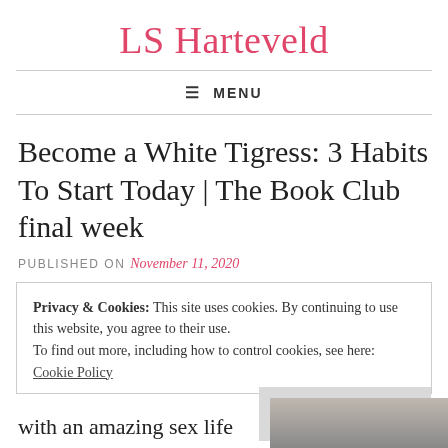LS Harteveld
≡ MENU
Become a White Tigress: 3 Habits To Start Today | The Book Club final week
PUBLISHED ON November 11, 2020
Privacy & Cookies: This site uses cookies. By continuing to use this website, you agree to their use.
To find out more, including how to control cookies, see here:
Cookie Policy
Close and accept
with an amazing sex life